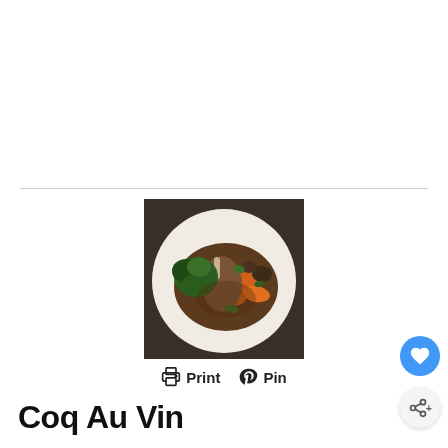[Figure (photo): A white plate with Coq Au Vin — braised chicken with carrots, mushrooms, herbs and sauce, garnished with fresh parsley/greens]
Print   Pin
Coq Au Vin